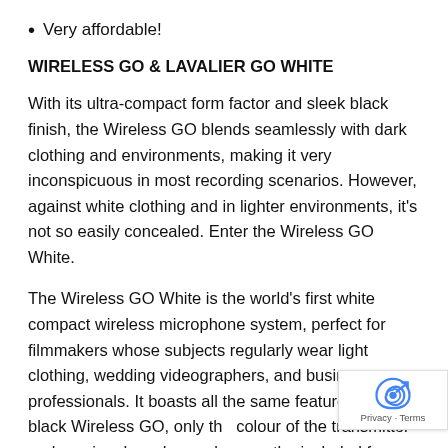Very affordable!
WIRELESS GO & LAVALIER GO WHITE
With its ultra-compact form factor and sleek black finish, the Wireless GO blends seamlessly with dark clothing and environments, making it very inconspicuous in most recording scenarios. However, against white clothing and in lighter environments, it's not so easily concealed. Enter the Wireless GO White.
The Wireless GO White is the world's first white compact wireless microphone system, perfect for filmmakers whose subjects regularly wear light clothing, wedding videographers, and business professionals. It boasts all the same features as the black Wireless GO, only the colour of the transmitter and receiver has changed - even the included furry windshields are white!